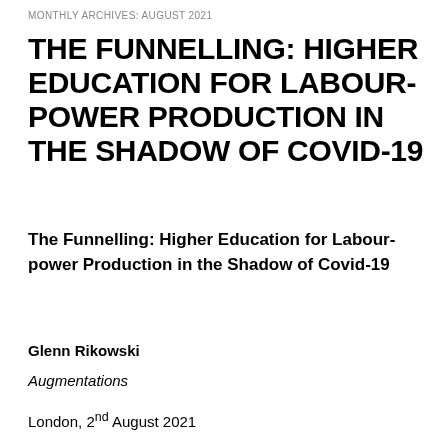MONTHLY ARCHIVES: AUGUST 2021
THE FUNNELLING: HIGHER EDUCATION FOR LABOUR-POWER PRODUCTION IN THE SHADOW OF COVID-19
The Funnelling: Higher Education for Labour-power Production in the Shadow of Covid-19
Glenn Rikowski
Augmentations
London, 2nd August 2021